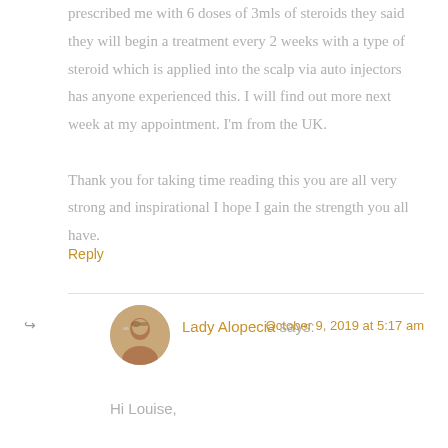prescribed me with 6 doses of 3mls of steroids they said they will begin a treatment every 2 weeks with a type of steroid which is applied into the scalp via auto injectors has anyone experienced this. I will find out more next week at my appointment. I'm from the UK.

Thank you for taking time reading this you are all very strong and inspirational I hope I gain the strength you all have.
Reply
Lady Alopecia says:
October 9, 2019 at 5:17 am
Hi Louise,